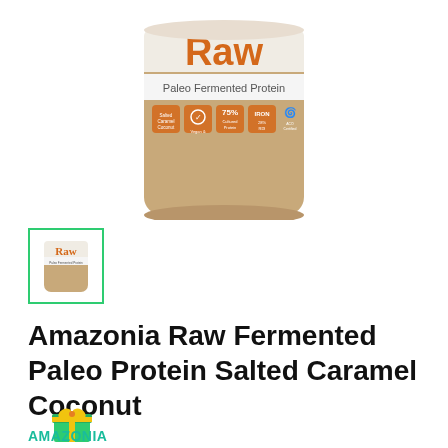[Figure (photo): Amazonia Raw Paleo Fermented Protein supplement container, kraft brown with white and orange branding, showing 'Raw' in large orange text, 'Paleo Fermented Protein' subtitle, and various certification/feature badges including Vegan & Activated, 75% Cultured Protein, Iron, and ACO Certified Organic]
[Figure (photo): Small thumbnail image of the same Amazonia Raw protein container, shown inside a green-bordered selection box]
Amazonia Raw Fermented Paleo Protein Salted Caramel Coconut
[Figure (illustration): Green gift box emoji icon with yellow ribbon]
AMAZONIA